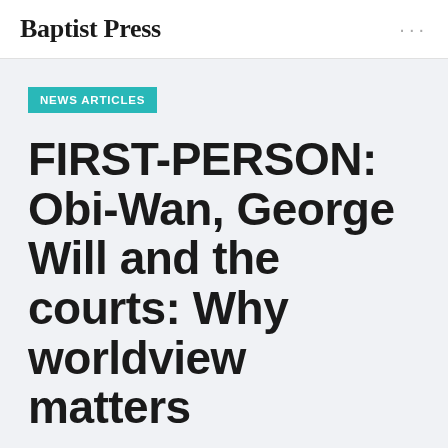Baptist Press
NEWS ARTICLES
FIRST-PERSON: Obi-Wan, George Will and the courts: Why worldview matters
By James A. Smith Sr., posted June 2, 2005 in